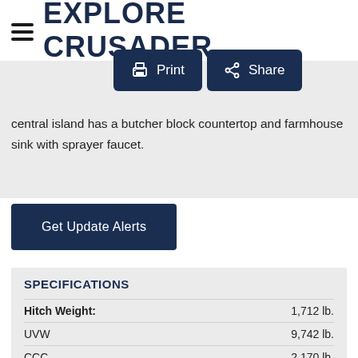EXPLORE CRUSADER
features a residential shower with built-in seat and glass doors, plus a linen closet. In the kitchen there's a hutch and ... you won't need to le... central island has a butcher block countertop and farmhouse sink with sprayer faucet.
Get Update Alerts
SPECIFICATIONS
| Specification | Value |
| --- | --- |
| Hitch Weight: | 1,712 lb. |
| UVW | 9,742 lb. |
| CCC | 2,170 lb. |
| Exterior Length: | 34' 9" |
| Exterior Height: | TBD |